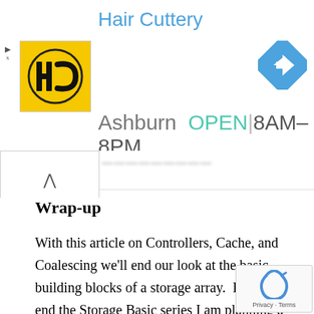[Figure (screenshot): Hair Cuttery advertisement banner showing logo, location 'Ashburn', hours 'OPEN 8AM-8PM', and a navigation arrow icon]
Wrap-up
With this article on Controllers, Cache, and Coalescing we'll end our look at the basic building blocks of a storage array.  Before we end the Storage Basic series I am planning a few more articles on Storage Workload Characterization (which has been mentioned, but not directly addressed in this and previous articles), Identifying a Stressed Storage System, and Best Practices for